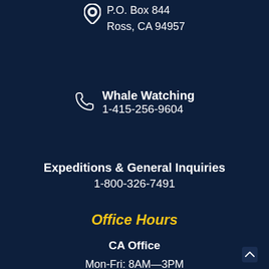P.O. Box 844
Ross, CA 94957
Whale Watching
1-415-256-9604
Expeditions & General Inquiries
1-800-326-7491
Office Hours
CA Office
Mon-Fri: 8AM—3PM
(PDT/PST)